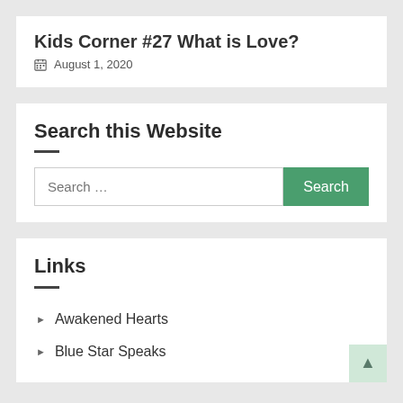Kids Corner #27 What is Love?
August 1, 2020
Search this Website
Search ...
Links
Awakened Hearts
Blue Star Speaks